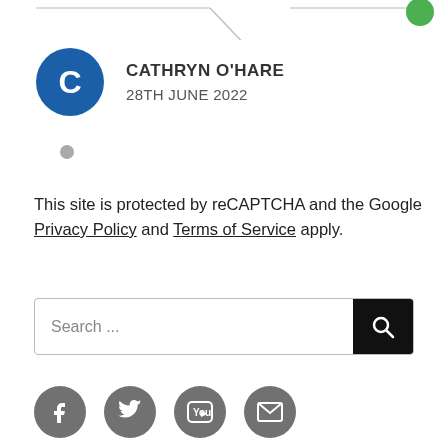[Figure (other): Partial top border line and green circle indicator at top right]
[Figure (other): User avatar circle with letter C (blue), name CATHRYN O'HARE, date 28TH JUNE 2022]
This site is protected by reCAPTCHA and the Google Privacy Policy and Terms of Service apply.
[Figure (other): Search bar with placeholder text 'Search ...' and a black search button with magnifier icon]
[Figure (other): Social media icons row: Facebook, Twitter, YouTube, Email (envelope)]